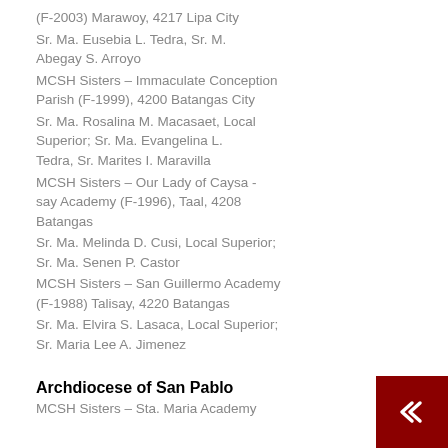(F-2003) Marawoy, 4217 Lipa City
Sr. Ma. Eusebia L. Tedra, Sr. M. Abegay S. Arroyo
MCSH Sisters – Immaculate Conception Parish (F-1999), 4200 Batangas City
Sr. Ma. Rosalina M. Macasaet, Local Superior; Sr. Ma. Evangelina L. Tedra, Sr. Marites I. Maravilla
MCSH Sisters – Our Lady of Caysa-say Academy (F-1996), Taal, 4208 Batangas
Sr. Ma. Melinda D. Cusi, Local Superior; Sr. Ma. Senen P. Castor
MCSH Sisters – San Guillermo Academy (F-1988) Talisay, 4220 Batangas
Sr. Ma. Elvira S. Lasaca, Local Superior; Sr. Maria Lee A. Jimenez
Archdiocese of San Pablo
MCSH Sisters – Sta. Maria Academy